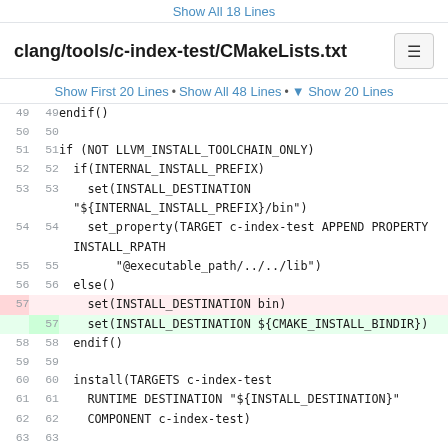Show All 18 Lines
clang/tools/c-index-test/CMakeLists.txt
Show First 20 Lines • Show All 48 Lines • ▼ Show 20 Lines
49  49  endif()
50  50
51  51  if (NOT LLVM_INSTALL_TOOLCHAIN_ONLY)
52  52    if(INTERNAL_INSTALL_PREFIX)
53  53      set(INSTALL_DESTINATION "${INTERNAL_INSTALL_PREFIX}/bin")
54  54      set_property(TARGET c-index-test APPEND PROPERTY INSTALL_RPATH
55  55          "@executable_path/../../lib")
56  56    else()
57       set(INSTALL_DESTINATION bin)
57  57    set(INSTALL_DESTINATION ${CMAKE_INSTALL_BINDIR})
58  58    endif()
59  59
60  60    install(TARGETS c-index-test
61  61      RUNTIME DESTINATION "${INSTALL_DESTINATION}"
62  62      COMPONENT c-index-test)
63  63
64  64    if (NOT LLVM_ENABLE_IDE)
65  65      add_llvm_install_targets(install-c-index-test